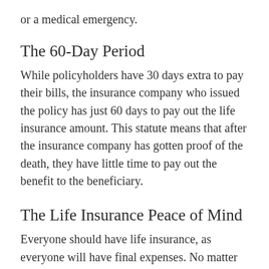or a medical emergency.
The 60-Day Period
While policyholders have 30 days extra to pay their bills, the insurance company who issued the policy has just 60 days to pay out the life insurance amount. This statute means that after the insurance company has gotten proof of the death, they have little time to pay out the benefit to the beneficiary.
The Life Insurance Peace of Mind
Everyone should have life insurance, as everyone will have final expenses. No matter which stage of life you're in, you need coverage to help those closest to you when the time comes. You may leave behind high medical bills